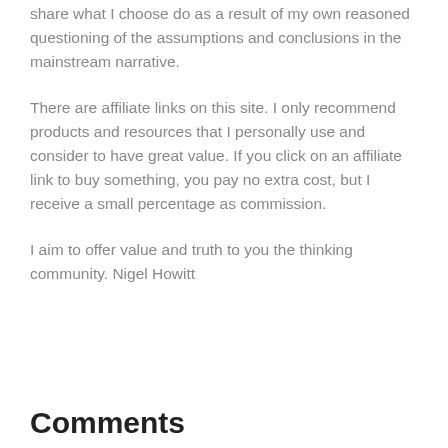share what I choose do as a result of my own reasoned questioning of the assumptions and conclusions in the mainstream narrative.
There are affiliate links on this site. I only recommend products and resources that I personally use and consider to have great value. If you click on an affiliate link to buy something, you pay no extra cost, but I receive a small percentage as commission.
I aim to offer value and truth to you the thinking community. Nigel Howitt
Comments